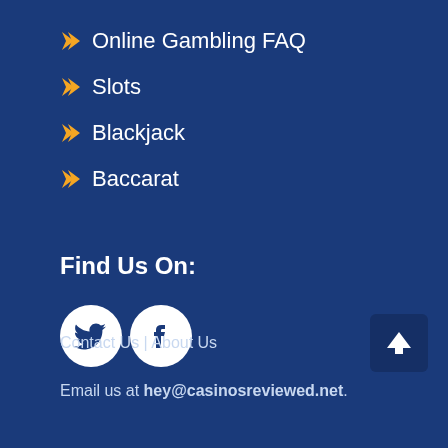Online Gambling FAQ
Slots
Blackjack
Baccarat
Find Us On:
[Figure (illustration): Twitter and Facebook social media icons (white circles with bird and f logos)]
Contact Us | About Us
Email us at hey@casinosreviewed.net.